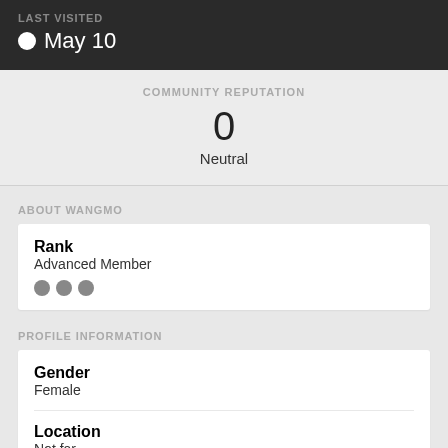LAST VISITED
May 10
COMMUNITY REPUTATION
0
Neutral
ABOUT WANGMO
Rank
Advanced Member
PROFILE INFORMATION
Gender
Female
Location
Not far